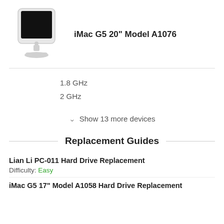[Figure (photo): iMac G5 20 inch computer with white casing and stand]
iMac G5 20" Model A1076
1.8 GHz
2 GHz
Show 13 more devices
Replacement Guides
Lian Li PC-011 Hard Drive Replacement
Difficulty: Easy
iMac G5 17" Model A1058 Hard Drive Replacement